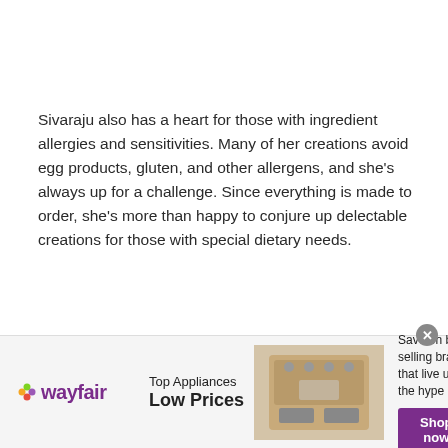Sivaraju also has a heart for those with ingredient allergies and sensitivities. Many of her creations avoid egg products, gluten, and other allergens, and she's always up for a challenge. Since everything is made to order, she's more than happy to conjure up delectable creations for those with special dietary needs.
[Figure (infographic): Wayfair advertisement banner: Wayfair logo on left, 'Top Appliances Low Prices' text, image of a stove/range appliance, and 'Save on best selling brands that live up to the hype' with a purple 'Shop now' button. Close (X) button in top-right corner.]